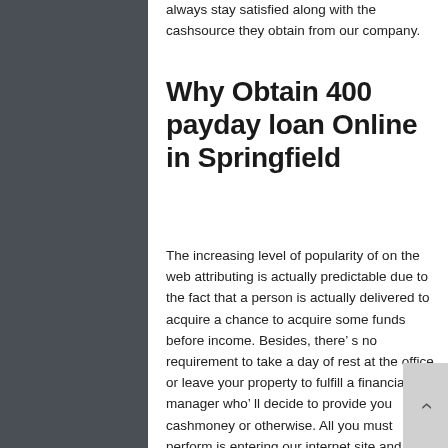always stay satisfied along with the cashsource they obtain from our company.
Why Obtain 400 payday loan Online in Springfield
The increasing level of popularity of on the web attributing is actually predictable due to the fact that a person is actually delivered to acquire a chance to acquire some funds before income. Besides, there’ s no requirement to take a day of rest at the office or leave your property to fulfill a financial manager who’ ll decide to provide you cashmoney or otherwise. All you must perform is entering our internet site and finishing an easy kind consisting of a sort of a questionnaire.